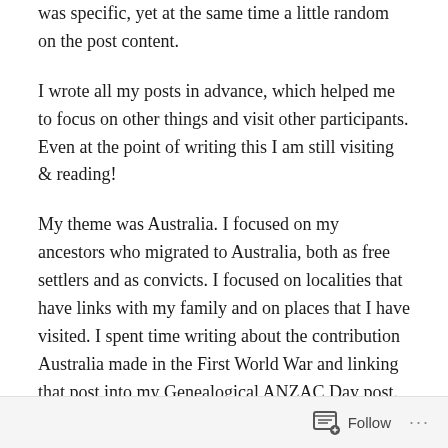was specific, yet at the same time a little random on the post content.
I wrote all my posts in advance, which helped me to focus on other things and visit other participants. Even at the point of writing this I am still visiting & reading!
My theme was Australia. I focused on my ancestors who migrated to Australia, both as free settlers and as convicts. I focused on localities that have links with my family and on places that I have visited. I spent time writing about the contribution Australia made in the First World War and linking that post into my Genealogical ANZAC Day post. Some of the letters were a bit of a challenge; Q featured Quilts and made mention of the Quilt that was made by the convict women that sailed upon The Rajah in 1841. X
Follow ...